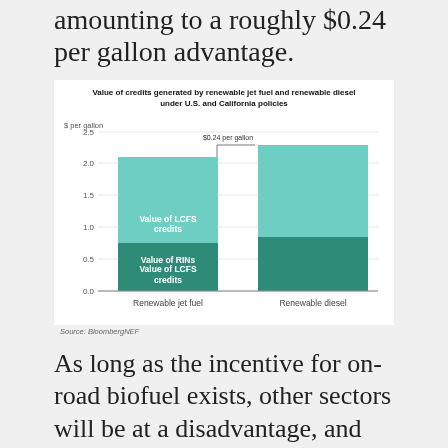amounting to a roughly $0.24 per gallon advantage.
[Figure (stacked-bar-chart): Value of credits generated by renewable jet fuel and renewable diesel under U.S. and California policies]
Source: BloombergNEF
As long as the incentive for on-road biofuel exists, other sectors will be at a disadvantage, and their growth inhibited. Policymakers must